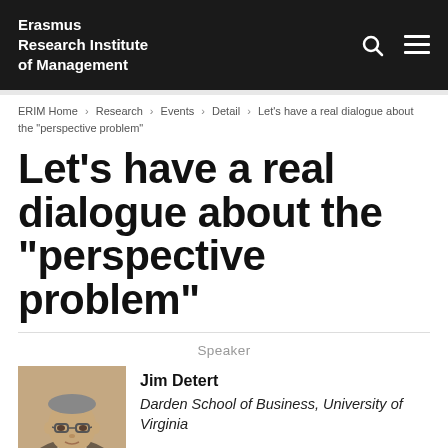Erasmus Research Institute of Management
ERIM Home › Research › Events › Detail › Let's have a real dialogue about the "perspective problem"
Let's have a real dialogue about the "perspective problem"
Speaker
[Figure (photo): Headshot photo of Jim Detert, a man wearing glasses]
Jim Detert
Darden School of Business, University of Virginia